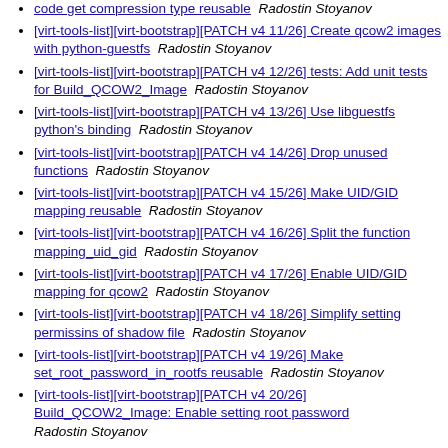[virt-tools-list][virt-bootstrap][PATCH v4 11/26] Create qcow2 images with python-guestfs  Radostin Stoyanov
[virt-tools-list][virt-bootstrap][PATCH v4 12/26] tests: Add unit tests for Build_QCOW2_Image  Radostin Stoyanov
[virt-tools-list][virt-bootstrap][PATCH v4 13/26] Use libguestfs python's binding  Radostin Stoyanov
[virt-tools-list][virt-bootstrap][PATCH v4 14/26] Drop unused functions  Radostin Stoyanov
[virt-tools-list][virt-bootstrap][PATCH v4 15/26] Make UID/GID mapping reusable  Radostin Stoyanov
[virt-tools-list][virt-bootstrap][PATCH v4 16/26] Split the function mapping_uid_gid  Radostin Stoyanov
[virt-tools-list][virt-bootstrap][PATCH v4 17/26] Enable UID/GID mapping for qcow2  Radostin Stoyanov
[virt-tools-list][virt-bootstrap][PATCH v4 18/26] Simplify setting permissins of shadow file  Radostin Stoyanov
[virt-tools-list][virt-bootstrap][PATCH v4 19/26] Make set_root_password_in_rootfs reusable  Radostin Stoyanov
[virt-tools-list][virt-bootstrap][PATCH v4 20/26] Build_QCOW2_Image: Enable setting root password  Radostin Stoyanov
[virt-tools-list][virt-bootstrap][PATCH v4 21/26] Use Build_QCOW2_Image to set root password  Radostin Stoyanov